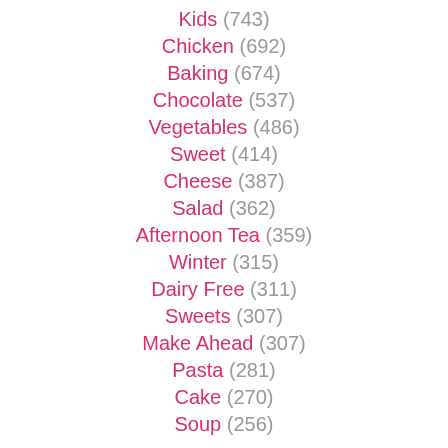Kids (743)
Chicken (692)
Baking (674)
Chocolate (537)
Vegetables (486)
Sweet (414)
Cheese (387)
Salad (362)
Afternoon Tea (359)
Winter (315)
Dairy Free (311)
Sweets (307)
Make Ahead (307)
Pasta (281)
Cake (270)
Soup (256)